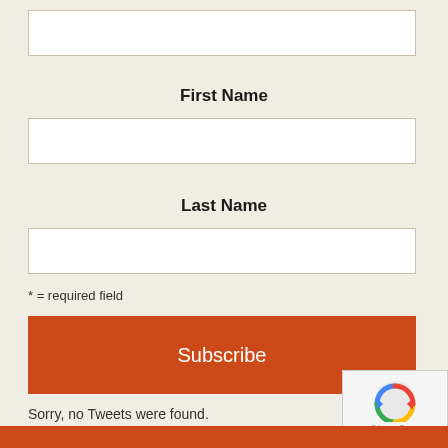[Figure (other): Empty text input field (First Name input box)]
First Name
[Figure (other): Empty text input field (Last Name input box)]
Last Name
[Figure (other): Empty text input field (third input box)]
* = required field
[Figure (other): Subscribe button in orange/red color]
[Figure (other): reCAPTCHA widget with logo and Privacy/Terms text]
Sorry, no Tweets were found.